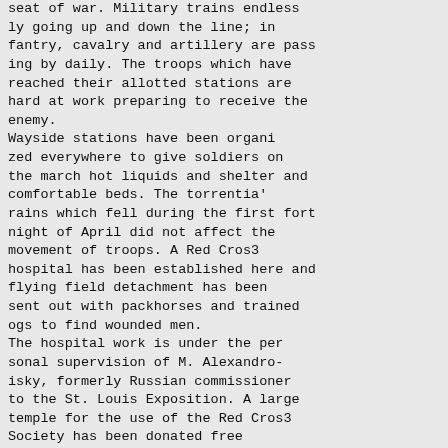seat of war. Military trains endlessly going up and down the line; infantry, cavalry and artillery are passing by daily. The troops which have reached their allotted stations are hard at work preparing to receive the enemy.
Wayside stations have been organized everywhere to give soldiers on the march hot liquids and shelter and comfortable beds. The torrentia' rains which fell during the first fortnight of April did not affect the movement of troops. A Red Cros3 hospital has been established here and flying field detachment has been sent out with packhorses and trained ogs to find wounded men.
The hospital work is under the personal supervision of M. Alexandro-isky, formerly Russian commissioner to the St. Louis Exposition. A large temple for the use of the Red Cros3 Society has been donated free charge. The military attaches are